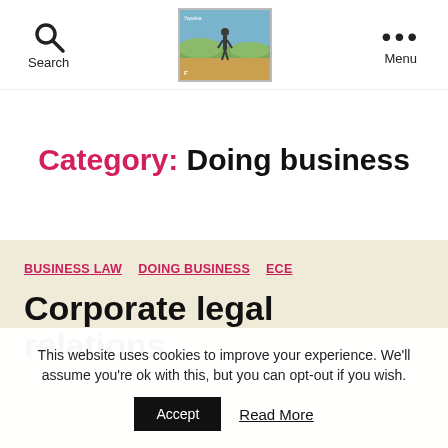Search | [stamp logo] | Menu
Category: Doing business
BUSINESS LAW  DOING BUSINESS  ECE
Corporate legal relations
This website uses cookies to improve your experience. We'll assume you're ok with this, but you can opt-out if you wish.
Accept  Read More